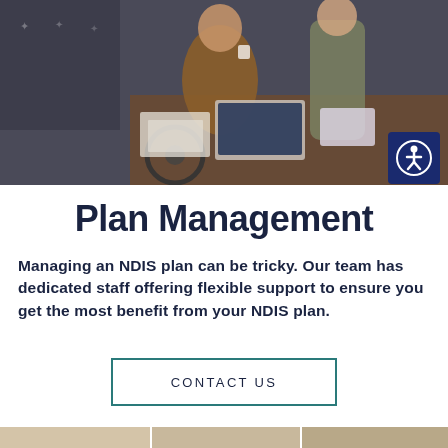[Figure (photo): A person in a wheelchair sitting at a desk working on a laptop, with another person standing beside them. Office/classroom setting.]
Plan Management
Managing an NDIS plan can be tricky. Our team has dedicated staff offering flexible support to ensure you get the most benefit from your NDIS plan.
CONTACT US
[Figure (photo): Partial view of additional photos at the bottom of the page.]